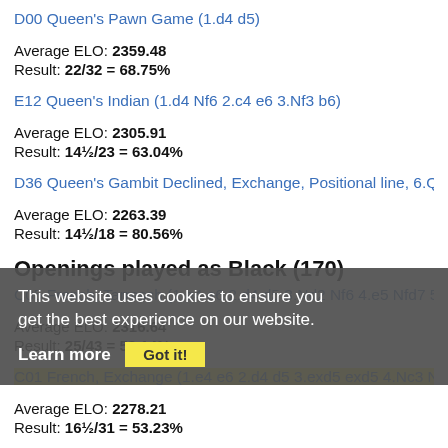D00 Queen's Pawn Game (1.d4 d5)
Average ELO: 2359.48
Result: 22/32 = 68.75%
E12 Queen's Indian (1.d4 Nf6 2.c4 e6 3.Nf3 b6)
Average ELO: 2305.91
Result: 14½/23 = 63.04%
D36 Queen's Gambit Declined, Exchange, Positional line, 6.Qc2 (1...
Average ELO: 2263.39
Result: 14½/18 = 80.56%
Openings played as Black (170)
This website uses cookies to ensure you get the best experience on our website.
Learn more
C05 French, Tarrasch (1.e4 e6 2.d4 d5 3.Nd2 Nf6 4.e5 Nfd7 5.Bd3 c
Average ELO: 2316.64
Result: 25/43 = 58.14%
C01 French, Exchange (1.e4 e6 2.d4 d5 3.exd5 exd5 4.Nc3 Nf6 5.Bg...
Average ELO: 2278.21
Result: 16½/31 = 53.23%